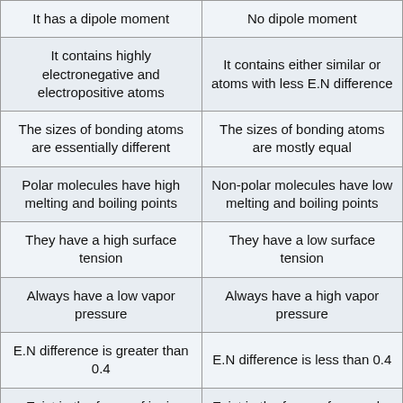| Polar | Non-polar |
| --- | --- |
| It has a dipole moment | No dipole moment |
| It contains highly electronegative and electropositive atoms | It contains either similar or atoms with less E.N difference |
| The sizes of bonding atoms are essentially different | The sizes of bonding atoms are mostly equal |
| Polar molecules have high melting and boiling points | Non-polar molecules have low melting and boiling points |
| They have a high surface tension | They have a low surface tension |
| Always have a low vapor pressure | Always have a high vapor pressure |
| E.N difference is greater than 0.4 | E.N difference is less than 0.4 |
| Exist in the forms of ionic | Exist in the forms of non-polar |